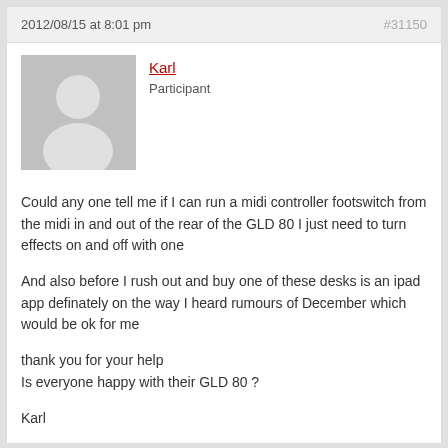2012/08/15 at 8:01 pm   #31150
Karl
Participant
Could any one tell me if I can run a midi controller footswitch from the midi in and out of the rear of the GLD 80 I just need to turn effects on and off with one

And also before I rush out and buy one of these desks is an ipad app definately on the way I heard rumours of December which would be ok for me

thank you for your help
Is everyone happy with their GLD 80 ?

Karl
2012/08/16 at 10:18 am   #31155